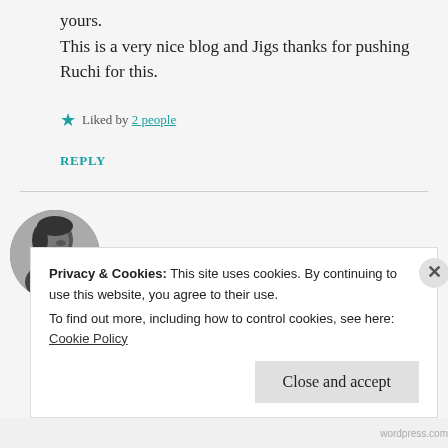yours.
This is a very nice blog and Jigs thanks for pushing Ruchi for this.
★ Liked by 2 people
REPLY
[Figure (photo): Black and white profile photo of a young man looking downward, used as comment avatar for user arshi67]
arshi67
Privacy & Cookies: This site uses cookies. By continuing to use this website, you agree to their use.
To find out more, including how to control cookies, see here: Cookie Policy
Close and accept